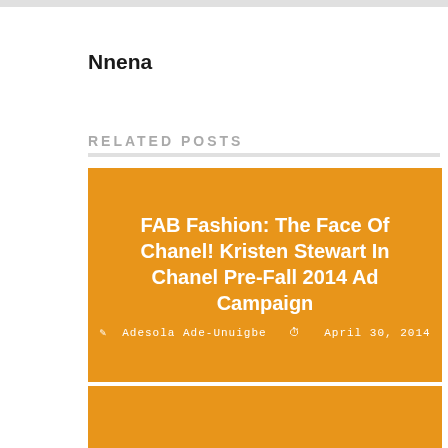Nnena
RELATED POSTS
[Figure (other): Orange card with article title 'FAB Fashion: The Face Of Chanel! Kristen Stewart In Chanel Pre-Fall 2014 Ad Campaign' by Adesola Ade-Unuigbe, April 30, 2014]
[Figure (other): Orange card partially visible at bottom with article title beginning 'Aiek Deng: Says She Struggles to']